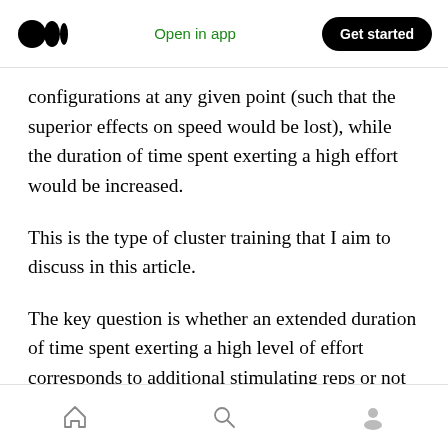Medium app header — Open in app | Get started
configurations at any given point (such that the superior effects on speed would be lost), while the duration of time spent exerting a high effort would be increased.
This is the type of cluster training that I aim to discuss in this article.
The key question is whether an extended duration of time spent exerting a high level of effort corresponds to additional stimulating reps or not (and so produces more hypertrophy).
Despite not being able to answer the question in
Home | Search | Profile